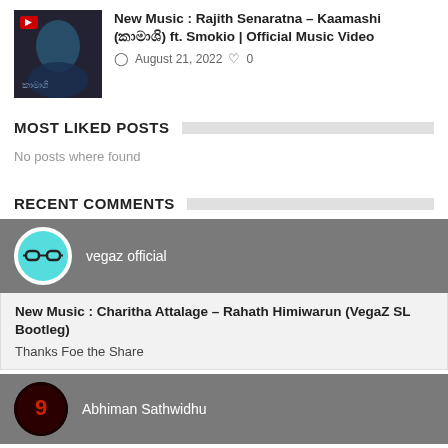[Figure (photo): Thumbnail image for music video post - dark themed with Sinhala text]
New Music : Rajith Senaratna – Kaamashi (කාමාශි) ft. Smokio | Official Music Video
August 21, 2022  0
MOST LIKED POSTS
No posts where found
RECENT COMMENTS
[Figure (photo): Vegaz official avatar - teal circle with glasses icon]
vegaz official
New Music : Charitha Attalage – Rahath Himiwarun (VegaZ SL Bootleg)
Thanks Foe the Share
[Figure (photo): Abhiman Sathwidhu avatar - dark red circle with number 9]
Abhiman Sathwidhu